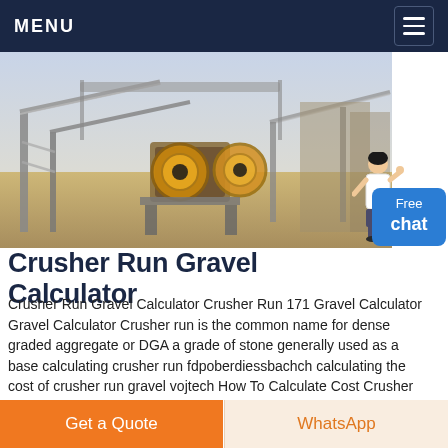MENU
[Figure (photo): Aerial/ground-level photograph of a large industrial crusher run gravel processing facility with conveyor belts, machinery, and industrial equipment]
Crusher Run Gravel Calculator
Crusher Run Gravel Calculator Crusher Run 171 Gravel Calculator Gravel Calculator Crusher run is the common name for dense graded aggregate or DGA a grade of stone generally used as a base calculating crusher run fdpoberdiessbachch calculating the cost of crusher run gravel vojtech How To Calculate Cost Crusher Run caesarmachinery
Chat Online
Get a Quote
WhatsApp